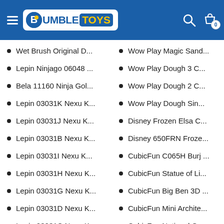BumbleToys
Wet Brush Original D...
Lepin Ninjago 06048 ...
Bela 11160 Ninja Gol...
Lepin 03031K Nexu K...
Lepin 03031J Nexu K...
Lepin 03031B Nexu K...
Lepin 03031I Nexu K...
Lepin 03031H Nexu K...
Lepin 03031G Nexu K...
Lepin 03031D Nexu K...
Lepin 03031C Nexu K...
Lepin 03031E Nexu K...
City Service Rescue P...
Wow Play Magic Sand...
Wow Play Dough 3 C...
Wow Play Dough 2 C...
Wow Play Dough Sin...
Disney Frozen Elsa C...
Disney 650FRN Froze...
CubicFun C065H Burj ...
CubicFun Statue of Li...
CubicFun Big Ben 3D ...
CubicFun Mini Archite...
CubicFun National Ge...
CubicFun National Ge...
CubicFun National Ge...